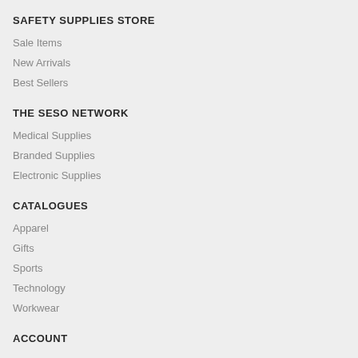SAFETY SUPPLIES STORE
Sale Items
New Arrivals
Best Sellers
THE SESO NETWORK
Medical Supplies
Branded Supplies
Electronic Supplies
CATALOGUES
Apparel
Gifts
Sports
Technology
Workwear
ACCOUNT